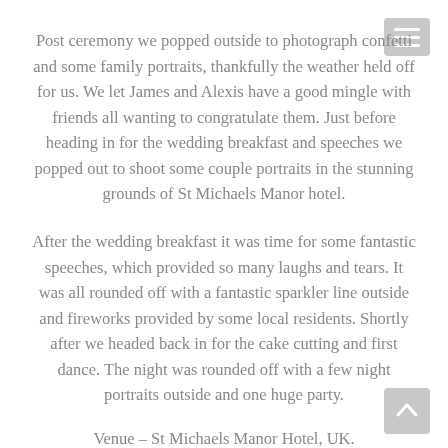Post ceremony we popped outside to photograph confetti and some family portraits, thankfully the weather held off for us. We let James and Alexis have a good mingle with friends all wanting to congratulate them. Just before heading in for the wedding breakfast and speeches we popped out to shoot some couple portraits in the stunning grounds of St Michaels Manor hotel.
After the wedding breakfast it was time for some fantastic speeches, which provided so many laughs and tears. It was all rounded off with a fantastic sparkler line outside and fireworks provided by some local residents. Shortly after we headed back in for the cake cutting and first dance. The night was rounded off with a few night portraits outside and one huge party.
Venue  – St Michaels Manor Hotel, UK.